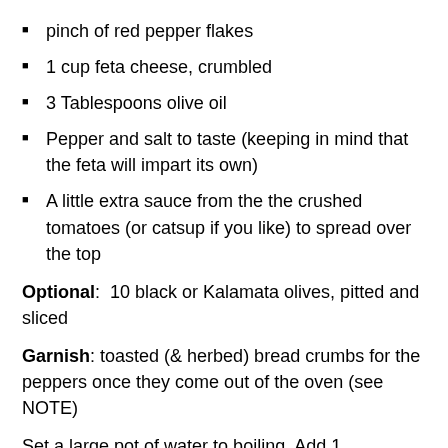pinch of red pepper flakes
1 cup feta cheese, crumbled
3 Tablespoons olive oil
Pepper and salt to taste (keeping in mind that the feta will impart its own)
A little extra sauce from the the crushed tomatoes (or catsup if you like) to spread over the top
Optional:  10 black or Kalamata olives, pitted and sliced
Garnish: toasted (& herbed) bread crumbs for the peppers once they come out of the oven (see NOTE)
Set a large pot of water to boiling. Add 1 tablespoon salt. Cut off the top 1/2 inch of the peppers (reserving these tops for later) and remove and discard the cores and seeds. Submerge the peppers in the boiling water and boil